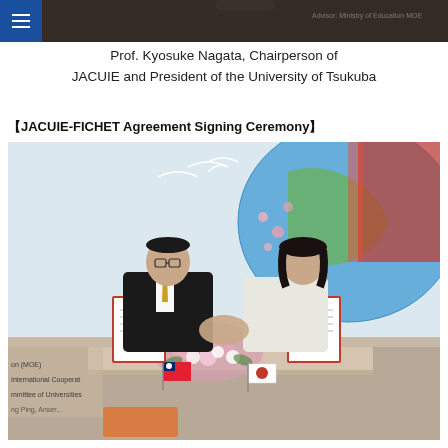≡
[Figure (photo): Top portion of a photo showing a person at a podium or event with text 'Advisor: Ministry of Education MOE' visible in background]
Prof. Kyosuke Nagata, Chairperson of JACUIE and President of the University of Tsukuba
【JACUIE-FICHET Agreement Signing Ceremony】
[Figure (photo): Two people shaking hands at a signing ceremony table with documents, flowers, Taiwan and Japan flags, and a decorative backdrop featuring cranes, cherry blossoms, and a world map. Text visible on left side: 'on (MOE)', 'International Cooperat...', 'mmittee of Universities...']